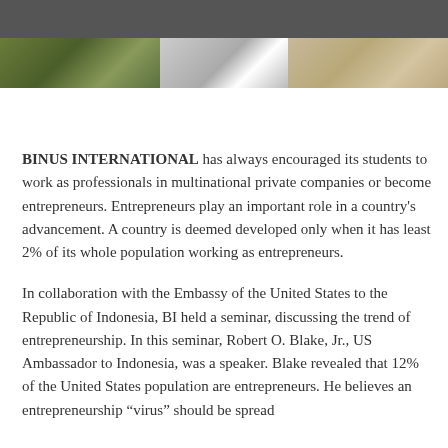[Figure (photo): Top dark bar and photo strip showing outdoor scene with people, light background, and warm toned background]
BINUS INTERNATIONAL has always encouraged its students to work as professionals in multinational private companies or become entrepreneurs. Entrepreneurs play an important role in a country's advancement. A country is deemed developed only when it has least 2% of its whole population working as entrepreneurs.
In collaboration with the Embassy of the United States to the Republic of Indonesia, BI held a seminar, discussing the trend of entrepreneurship. In this seminar, Robert O. Blake, Jr., US Ambassador to Indonesia, was a speaker. Blake revealed that 12% of the United States population are entrepreneurs. He believes an entrepreneurship “virus” should be spread